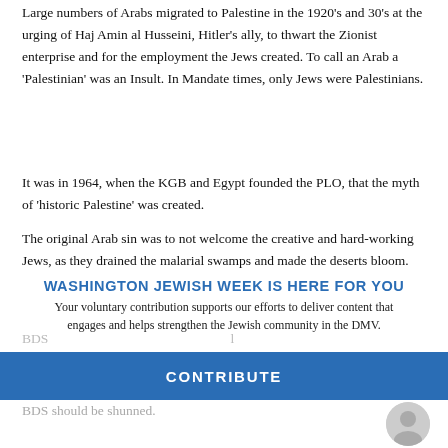Large numbers of Arabs migrated to Palestine in the 1920’s and 30’s at the urging of Haj Amin al Husseini, Hitler’s ally, to thwart the Zionist enterprise and for the employment the Jews created. To call an Arab a ‘Palestinian’ was an Insult. In Mandate times, only Jews were Palestinians.
It was in 1964, when the KGB and Egypt founded the PLO, that the myth of ‘historic Palestine’ was created.
The original Arab sin was to not welcome the creative and hard-working Jews, as they drained the malarial swamps and made the deserts bloom. What progress could have been brought to a
region, all allowing Jews to enter and what about it is a
BDS ... that what is helping fuel the rapid spread of Islam across the West. It is being pumped into
WASHINGTON JEWISH WEEK IS HERE FOR YOU
Your voluntary contribution supports our efforts to deliver content that engages and helps strengthen the Jewish community in the DMV.
CONTRIBUTE
BDS should be shunned.